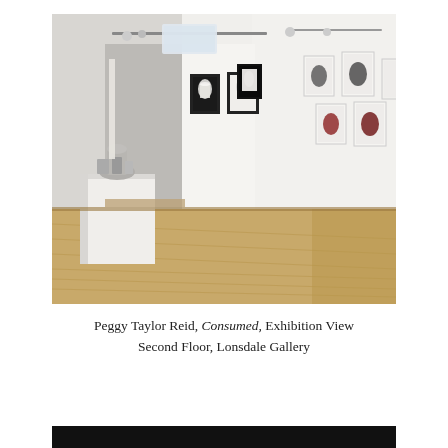[Figure (photo): Gallery interior showing white walls with framed artworks depicting jars and objects, a white pedestal with sculptural objects, wood parquet flooring, and track lighting on the ceiling. Exhibition view of Consumed by Peggy Taylor Reid at Second Floor, Lonsdale Gallery.]
Peggy Taylor Reid, Consumed, Exhibition View
Second Floor, Lonsdale Gallery